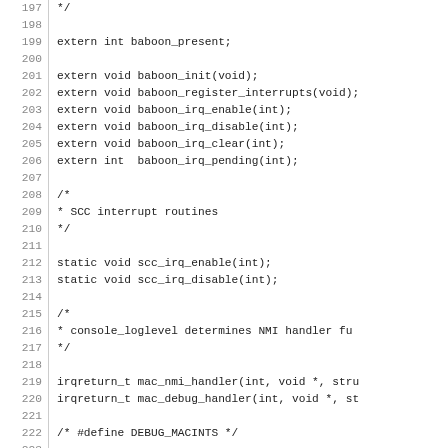197  */
198
199  extern int baboon_present;
200
201  extern void baboon_init(void);
202  extern void baboon_register_interrupts(void);
203  extern void baboon_irq_enable(int);
204  extern void baboon_irq_disable(int);
205  extern void baboon_irq_clear(int);
206  extern int  baboon_irq_pending(int);
207
208  /*
209   * SCC interrupt routines
210   */
211
212  static void scc_irq_enable(int);
213  static void scc_irq_disable(int);
214
215  /*
216   * console_loglevel determines NMI handler fu
217   */
218
219  irqreturn_t mac_nmi_handler(int, void *, stru
220  irqreturn_t mac_debug_handler(int, void *, st
221
222  /* #define DEBUG_MACINTS */
223
224  void mac_init_IRQ(void)
225  {
226          int i;
227